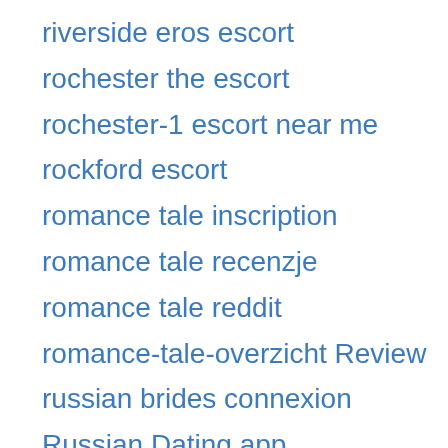riverside eros escort
rochester the escort
rochester-1 escort near me
rockford escort
romance tale inscription
romance tale recenzje
romance tale reddit
romance-tale-overzicht Review
russian brides connexion
Russian Dating app
Russian Dating app free
Russian Dating username
russian mail order brides
Russian Online Dating
russische datierung seiten